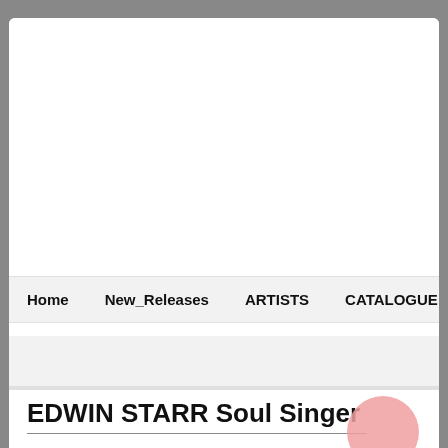Home  New_Releases  ARTISTS  CATALOGUE  Downloads
EDWIN STARR Soul Singer
[Figure (illustration): Social media icons: Facebook, Twitter, Email]